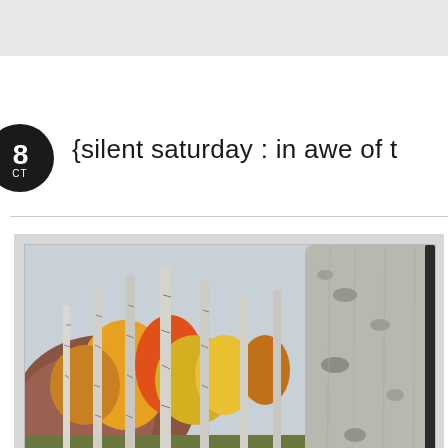{silent saturday : in awe of t
[Figure (photo): Framed photograph of aspen trees with white bark in autumn, showing colorful fall foliage with yellows, oranges, and reds. A large close-up aspen trunk dominates the right side. The photo is matted and framed with a light grey/white frame.]